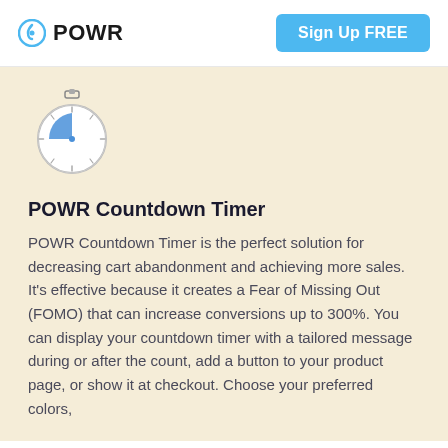POWR | Sign Up FREE
[Figure (illustration): Stopwatch/countdown timer icon with blue clock hands on a circular dial]
POWR Countdown Timer
POWR Countdown Timer is the perfect solution for decreasing cart abandonment and achieving more sales. It's effective because it creates a Fear of Missing Out (FOMO) that can increase conversions up to 300%. You can display your countdown timer with a tailored message during or after the count, add a button to your product page, or show it at checkout. Choose your preferred colors,